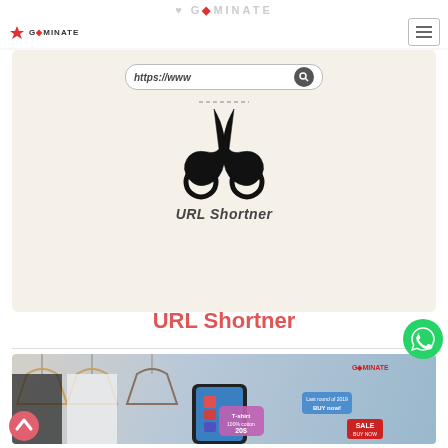GEMINATE
[Figure (illustration): URL shortener illustration: a browser address bar showing 'https://www' with scissors cutting it, on a beige card background, with italic bold text 'URL Shortner' below]
URL Shortner
[Figure (photo): E-commerce mobile AR illustration: hand holding a smartphone showing augmented reality shopping interface with T-shirt listing '20$', 'BUY now!', and 'SALE' labels, clothes hangers in background. Geminate logo watermark top right.]
[Figure (logo): WhatsApp green circular chat button icon, positioned bottom-right overlay]
[Figure (illustration): Back-to-top button: pink/red circular arrow-up icon at bottom left]